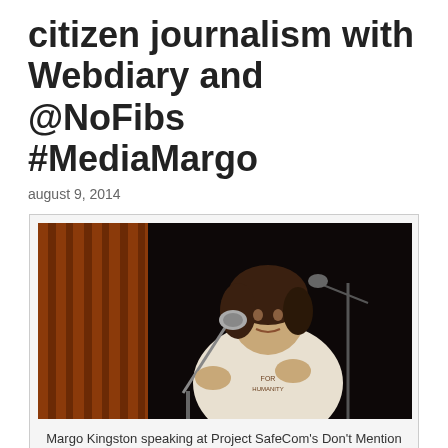citizen journalism with Webdiary and @NoFibs #MediaMargo
august 9, 2014
[Figure (photo): Margo Kingston speaking at a microphone on stage, with orange curtains in the background, wearing a white t-shirt. Photo taken at Project SafeCom's Don't Mention the Refugees forum, 2005.]
Margo Kingston speaking at Project SafeCom's Don't Mention the Refugees forum, 2005.
IT'S official, folks. I have a scholarship to do a Doctorate in